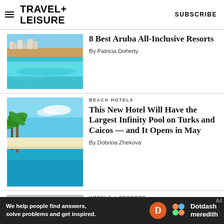TRAVEL+ LEISURE | SUBSCRIBE
[Figure (photo): Aerial view of Aruba coastline with turquoise water]
8 Best Aruba All-Inclusive Resorts
By Patricia Doherty
[Figure (photo): Infinity pool with palm trees at a beach hotel in Turks and Caicos]
BEACH HOTELS
This New Hotel Will Have the Largest Infinity Pool on Turks and Caicos — and It Opens in May
By Dobrina Zhekova
[Figure (photo): San Diego downtown area]
HOTELS + RESORTS
Where to Stay in San Diego:
[Figure (other): Dotdash Meredith advertisement banner: We help people find answers, solve problems and get inspired.]